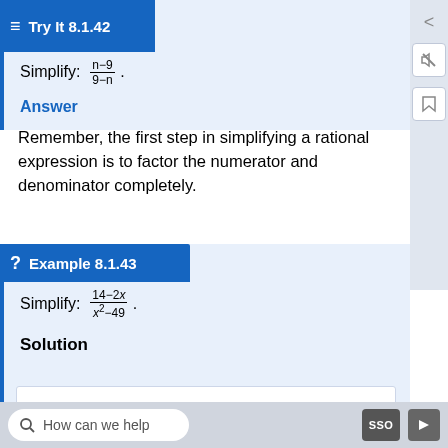Try It 8.1.42
Simplify: (n-9)/(9-n).
Answer
Remember, the first step in simplifying a rational expression is to factor the numerator and denominator completely.
Example 8.1.43
Simplify: (14-2x)/(x^2-49).
Solution